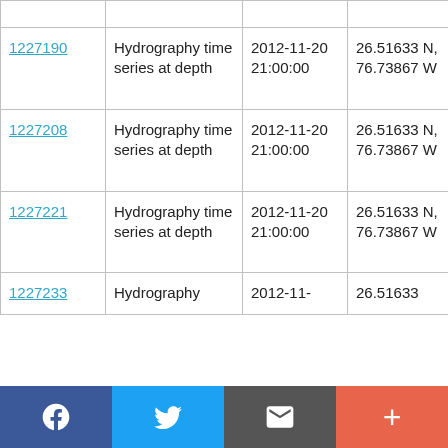| ID | Type | Date | Coordinates | Vessel |
| --- | --- | --- | --- | --- |
| 1227190 | Hydrography time series at depth | 2012-11-20 21:00:00 | 26.51633 N, 76.73867 W | RRS Discovery D382 |
| 1227208 | Hydrography time series at depth | 2012-11-20 21:00:00 | 26.51633 N, 76.73867 W | RRS Discovery D382 |
| 1227221 | Hydrography time series at depth | 2012-11-20 21:00:00 | 26.51633 N, 76.73867 W | RRS Discovery D382 |
| 1227233 | Hydrography | 2012-11- | 26.51633 | RRS |